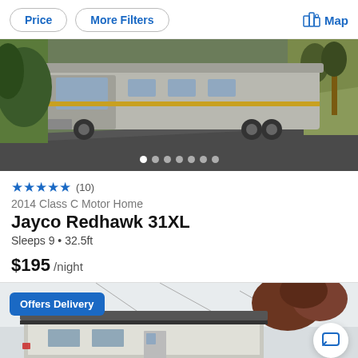Price | More Filters | Map
[Figure (photo): RV/Class C motor home driving on a road surrounded by green grass and trees]
★★★★★ (10)
2014 Class C Motor Home
Jayco Redhawk 31XL
Sleeps 9 • 32.5ft
$195 /night
[Figure (photo): Second RV listing photo showing a trailer with 'Offers Delivery' badge, trees in background]